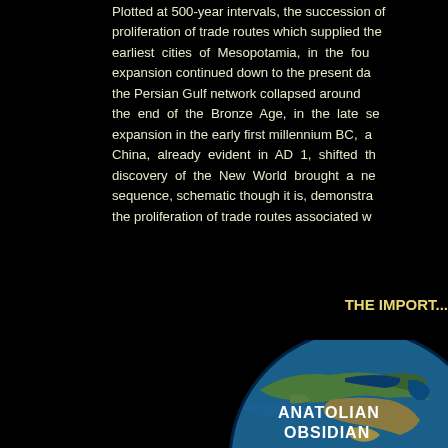Plotted at 500-year intervals, the succession of proliferation of trade routes which supplied the earliest cities of Mesopotamia, in the fourth expansion continued down to the present day, the Persian Gulf network collapsed around the end of the Bronze Age, in the late second expansion in the early first millennium BC, and China, already evident in AD 1, shifted the discovery of the New World brought a new sequence, schematic though it is, demonstrates the proliferation of trade routes associated w...
THE IMPORT...
[Figure (illustration): Globe/Earth image showing a partial view of Anatolia region with blue ocean and green landmass, with overlay text reading ANATOLIAN OBSIDIAN]